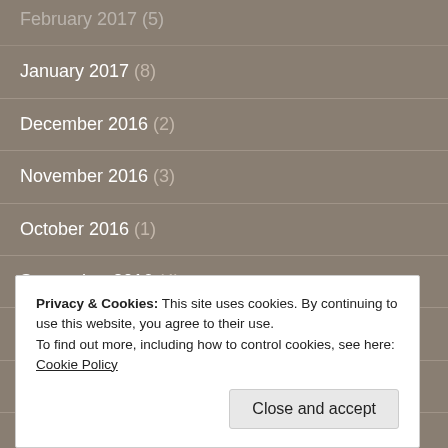February 2017 (5)
January 2017 (8)
December 2016 (2)
November 2016 (3)
October 2016 (1)
September 2016 (4)
August 2016 (4)
July 2016 (1)
May 2016 (1)
Privacy & Cookies: This site uses cookies. By continuing to use this website, you agree to their use. To find out more, including how to control cookies, see here: Cookie Policy
Close and accept